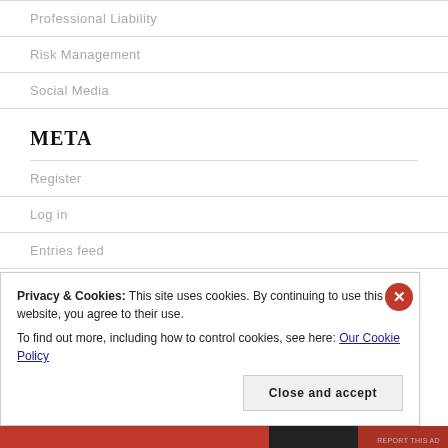Professional Liability
Risk Management
Social Media
META
Register
Log in
Entries feed
Comments feed
Privacy & Cookies: This site uses cookies. By continuing to use this website, you agree to their use.
To find out more, including how to control cookies, see here: Our Cookie Policy
Close and accept